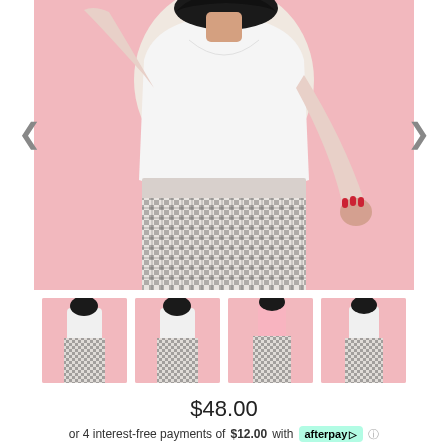[Figure (photo): Fashion product photo of a woman wearing white long-sleeve top and black-and-white gingham/checkered high-waist pants, posed against a pink background. Torso and lower body visible, dark curly hair.]
[Figure (photo): Thumbnail 1: Same woman in gingham pants, front view]
[Figure (photo): Thumbnail 2: Same woman in gingham pants, side/back view]
[Figure (photo): Thumbnail 3: Same gingham pants, different angle, pink top]
[Figure (photo): Thumbnail 4: Same woman in gingham pants, full length]
$48.00
or 4 interest-free payments of $12.00 with afterpay